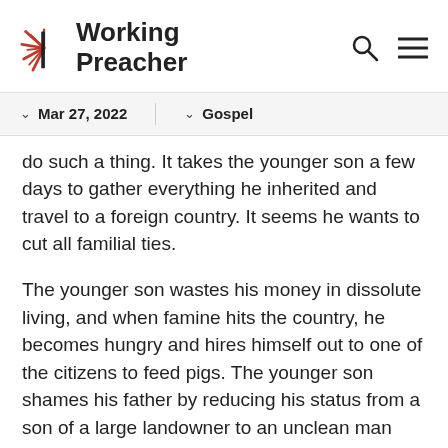[Figure (logo): Working Preacher logo with starburst icon and bold text]
Mar 27, 2022   Gospel
do such a thing. It takes the younger son a few days to gather everything he inherited and travel to a foreign country. It seems he wants to cut all familial ties.
The younger son wastes his money in dissolute living, and when famine hits the country, he becomes hungry and hires himself out to one of the citizens to feed pigs. The younger son shames his father by reducing his status from a son of a large landowner to an unclean man feeding pigs. He becomes